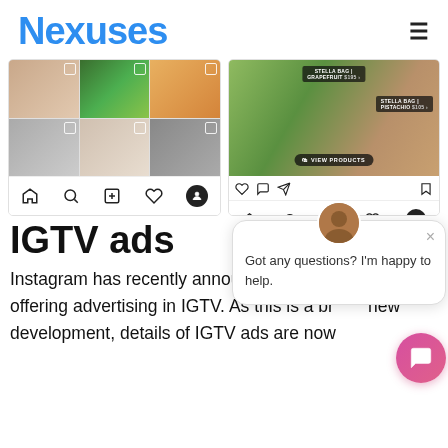Nexuses
[Figure (screenshot): Two Instagram app screenshots side by side. Left shows an Instagram explore/shopping grid with fashion items and bag icons. Right shows an Instagram shopping post with 'STELLA BAG | GRAPEFRUIT $195' and 'STELLA BAG | PISTACHIO $105' product labels and a 'VIEW PRODUCTS' button. Both show the Instagram bottom navigation bar.]
[Figure (screenshot): Chat support popup overlay with a woman avatar, close button, and text 'Got any questions? I'm happy to help.' Also shows a pink chat bubble button.]
IGTV ads
Instagram has recently announced that it will be offering advertising in IGTV. As this is a brand new development, details of IGTV ads are now